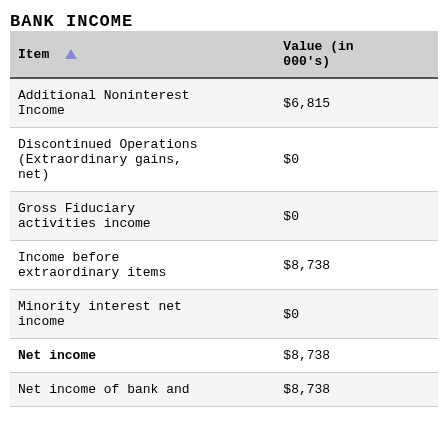BANK INCOME
| Item | Value (in 000's) |
| --- | --- |
| Additional Noninterest Income | $6,815 |
| Discontinued Operations (Extraordinary gains, net) | $0 |
| Gross Fiduciary activities income | $0 |
| Income before extraordinary items | $8,738 |
| Minority interest net income | $0 |
| Net income | $8,738 |
| Net income of bank and | $8,738 |